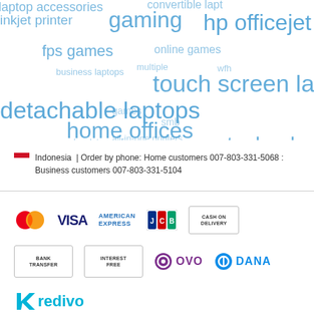[Figure (infographic): Word cloud with search terms related to HP laptops and computers in various blue shades and sizes, including terms like 'laptop accessories', 'convertible laptop', 'inkjet printer', 'gaming', 'hp officejet', 'fps games', 'online games', 'business laptops', 'touch screen laptop', 'detachable laptops', 'home offices', 'smb', 'computer hardware', 'gaming monitor', 'hp pavilion']
Indonesia | Order by phone: Home customers 007-803-331-5068 : Business customers 007-803-331-5104
[Figure (infographic): Payment method logos including Mastercard, VISA, American Express, JCB, Cash on Delivery, Bank Transfer, Interest Free, OVO, DANA, and Kredivo]